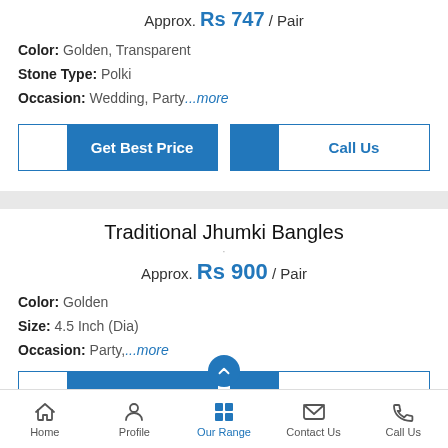Approx. Rs 747 / Pair
Color: Golden, Transparent
Stone Type: Polki
Occasion: Wedding, Party...more
[Figure (screenshot): Get Best Price and Call Us buttons for first product]
Traditional Jhumki Bangles
Approx. Rs 900 / Pair
Color: Golden
Size: 4.5 Inch (Dia)
Occasion: Party,...more
[Figure (screenshot): Get Best Price and Call Us buttons partially visible for second product]
Home   Profile   Our Range   Contact Us   Call Us